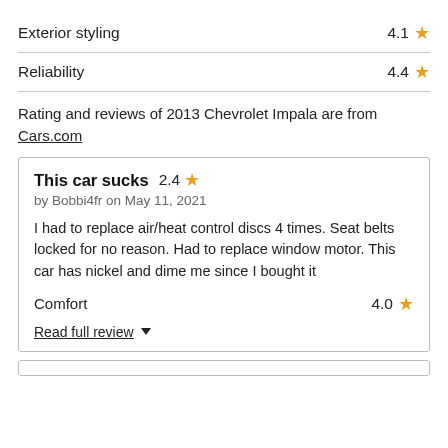Exterior styling  4.1 ★
Reliability  4.4 ★
Rating and reviews of 2013 Chevrolet Impala are from Cars.com
This car sucks  2.4 ★
by Bobbi4fr on May 11, 2021

I had to replace air/heat control discs 4 times. Seat belts locked for no reason. Had to replace window motor. This car has nickel and dime me since I bought it

Comfort  4.0 ★

Read full review ▼